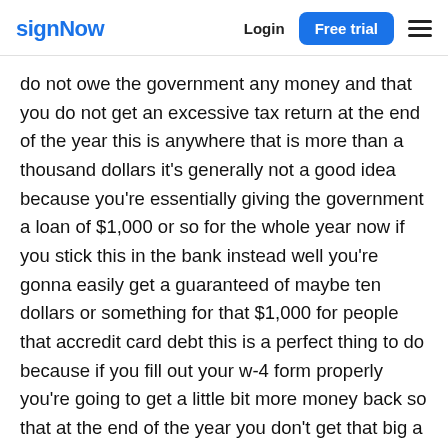signNow  Login  Free trial
do not owe the government any money and that you do not get an excessive tax return at the end of the year this is anywhere that is more than a thousand dollars it's generally not a good idea because you're essentially giving the government a loan of $1,000 or so for the whole year now if you stick this in the bank instead well you're gonna easily get a guaranteed of maybe ten dollars or something for that $1,000 for people that accredit card debt this is a perfect thing to do because if you fill out your w-4 form properly you're going to get a little bit more money back so that at the end of the year you don't get that big a refund but whatever extra amount that you get if you have the discipline you just shove that right into your credit card start paying it off and this translates to not paying a lot more interest in your credit card debt which can mean a lot